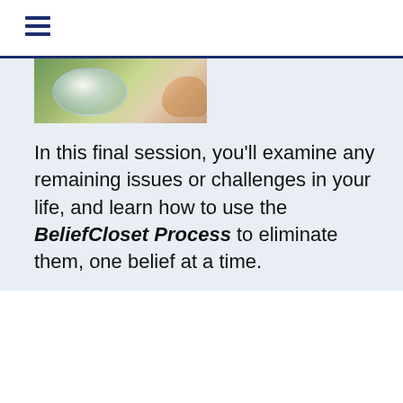[Figure (other): Hamburger menu icon with three horizontal dark blue lines]
[Figure (photo): Partial photo showing a hand holding a glass lens or bubble against a green outdoor background, with a blue horizontal rule above it]
In this final session, you'll examine any remaining issues or challenges in your life, and learn how to use the BeliefCloset Process to eliminate them, one belief at a time.